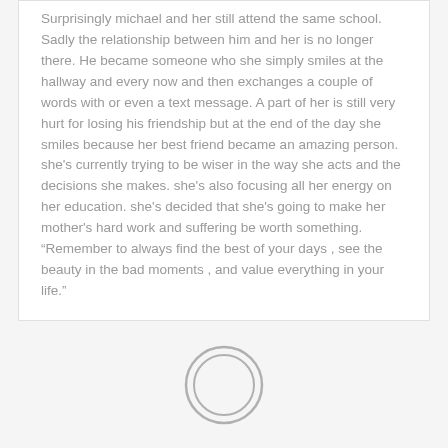Surprisingly michael and her still attend the same school. Sadly the relationship between him and her is no longer there. He became someone who she simply smiles at the hallway and every now and then exchanges a couple of words with or even a text message. A part of her is still very hurt for losing his friendship but at the end of the day she smiles because her best friend became an amazing person. she's currently trying to be wiser in the way she acts and the decisions she makes. she's also focusing all her energy on her education. she's decided that she's going to make her mother's hard work and suffering be worth something. “Remember to always find the best of your days , see the beauty in the bad moments , and value everything in your life.”
[Figure (illustration): A circular ring/button icon centered at the bottom of the page, consisting of two concentric circles with a grey stroke, resembling a camera shutter button or home button.]